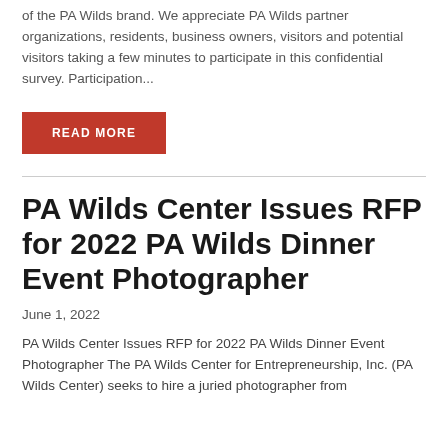of the PA Wilds brand. We appreciate PA Wilds partner organizations, residents, business owners, visitors and potential visitors taking a few minutes to participate in this confidential survey. Participation...
READ MORE
PA Wilds Center Issues RFP for 2022 PA Wilds Dinner Event Photographer
June 1, 2022
PA Wilds Center Issues RFP for 2022 PA Wilds Dinner Event Photographer The PA Wilds Center for Entrepreneurship, Inc. (PA Wilds Center) seeks to hire a juried photographer from